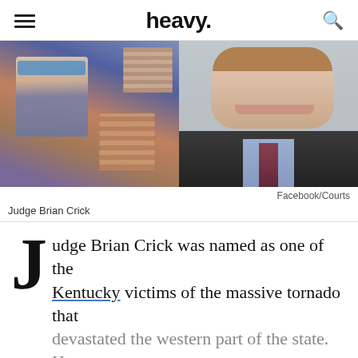heavy.
[Figure (photo): Two side-by-side photos of Judge Brian Crick: left photo is an informal selfie-style shot with faces pixelated, right photo is a formal headshot in a suit]
Facebook/Courts
Judge Brian Crick
Judge Brian Crick was named as one of the Kentucky victims of the massive tornado that devastated the western part of the state. He was a married father of three who was respected by